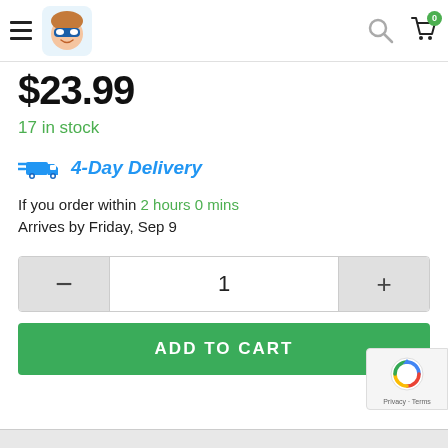Navigation header with hamburger menu, avatar logo, search icon, and cart icon (0 items)
$23.99
17 in stock
4-Day Delivery
If you order within 2 hours 0 mins
Arrives by Friday, Sep 9
1
ADD TO CART